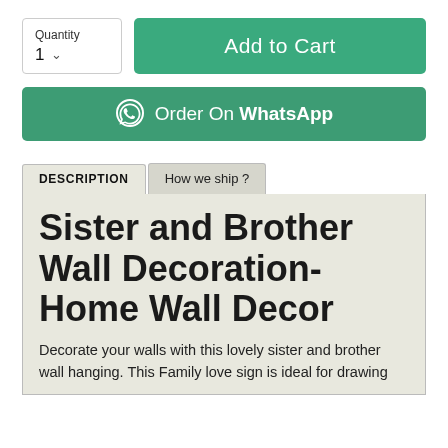[Figure (screenshot): Quantity selector box showing label 'Quantity' and value '1' with a dropdown arrow]
[Figure (screenshot): Green 'Add to Cart' button]
[Figure (screenshot): Green 'Order On WhatsApp' button with WhatsApp icon]
DESCRIPTION
How we ship ?
Sister and Brother Wall Decoration- Home Wall Decor
Decorate your walls with this lovely sister and brother wall hanging. This Family love sign is ideal for drawing